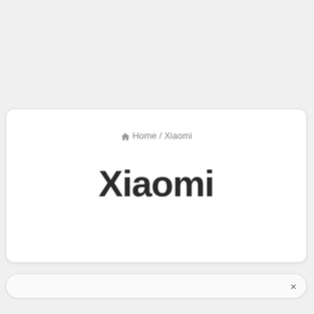Home / Xiaomi
Xiaomi
[Figure (screenshot): Bottom bar with close button (×)]